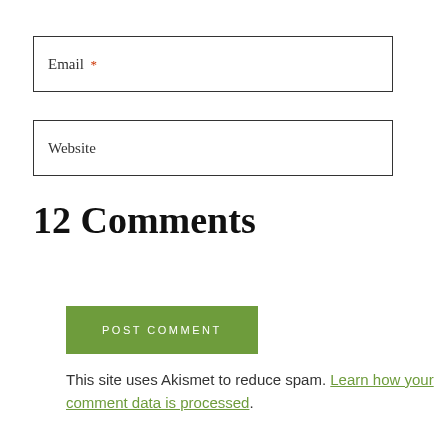Email *
Website
POST COMMENT
This site uses Akismet to reduce spam. Learn how your comment data is processed.
12 Comments
Gabriela says:
November 14, 2020 at 4:13 pm